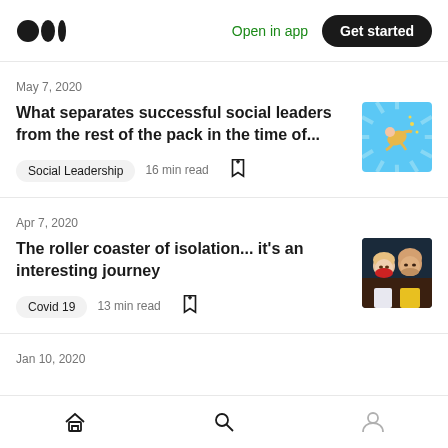Medium logo | Open in app | Get started
May 7, 2020
What separates successful social leaders from the rest of the pack in the time of...
Social Leadership  16 min read
[Figure (photo): Thumbnail image for article about social leaders — colorful illustration of a person flying]
Apr 7, 2020
The roller coaster of isolation... it's an interesting journey
Covid 19  13 min read
[Figure (photo): Thumbnail photo of two people, one wearing a red face mask]
Jan 10, 2020
Home | Search | Profile